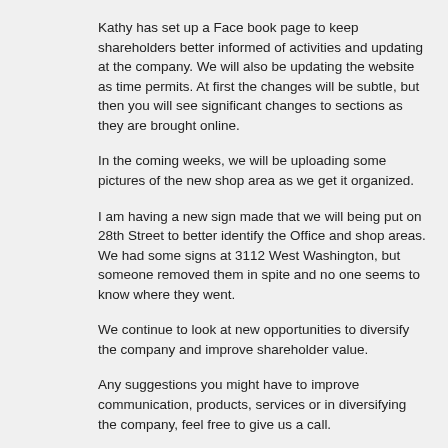Kathy has set up a Face book page to keep shareholders better informed of activities and updating at the company. We will also be updating the website as time permits. At first the changes will be subtle, but then you will see significant changes to sections as they are brought online.
In the coming weeks, we will be uploading some pictures of the new shop area as we get it organized.
I am having a new sign made that we will being put on 28th Street to better identify the Office and shop areas. We had some signs at 3112 West Washington, but someone removed them in spite and no one seems to know where they went.
We continue to look at new opportunities to diversify the company and improve shareholder value.
Any suggestions you might have to improve communication, products, services or in diversifying the company, feel free to give us a call.
Look forward to more updates, I am actually having fun again and this is a blast working on the different projects.
Brad
http://www.radix-marine.com/